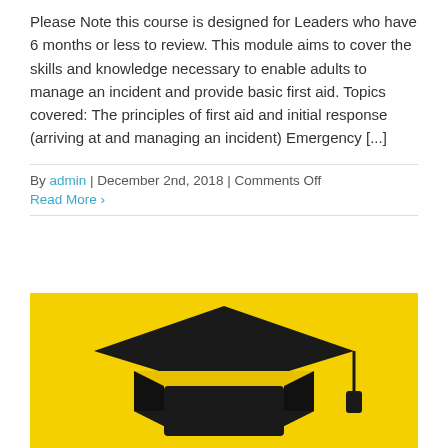Please Note this course is designed for Leaders who have 6 months or less to review. This module aims to cover the skills and knowledge necessary to enable adults to manage an incident and provide basic first aid. Topics covered: The principles of first aid and initial response (arriving at and managing an incident) Emergency [...]
By admin | December 2nd, 2018 | Comments Off
Read More >
[Figure (illustration): Yellow background with a dark graduation cap (mortarboard) icon centered on it.]